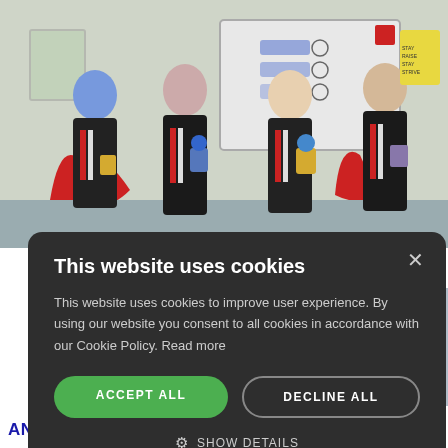[Figure (photo): Four students in school uniforms (black blazers with red striped ties) standing in a classroom, each holding an award/trophy. One student has blue hair. A whiteboard with diagrams is visible in the background, along with red curved furniture.]
GNISE TOP
[Figure (photo): A person's hands typing on a laptop keyboard, with a map visible on the laptop screen.]
ART-UPS
AND LOCAL EMPLOYMENT
This website uses cookies

This website uses cookies to improve user experience. By using our website you consent to all cookies in accordance with our Cookie Policy. Read more

ACCEPT ALL   DECLINE ALL

⚙ SHOW DETAILS